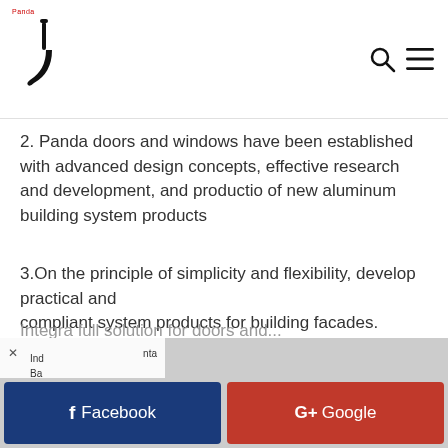Panda (logo) with search and menu icons
2. Panda doors and windows have been established with advanced design concepts, effective research and development, and productio of new aluminum building system products
3.On the principle of simplicity and flexibility, develop practical and compliant system products for building facades.
ABOUT FACTORY
Panda Doors and Windows is committed to creating a one-stop solution for architectural aluminum curtain wall, doors and windows systems.